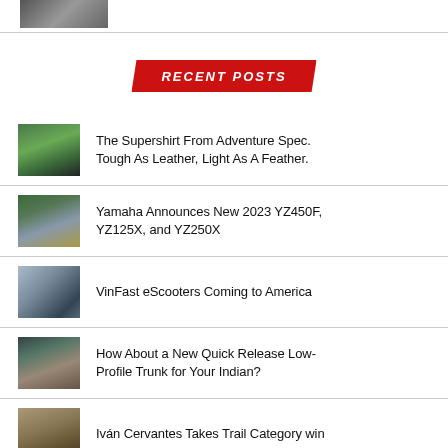[Figure (photo): Partial thumbnail image at top of page]
RECENT POSTS
The Supershirt From Adventure Spec. Tough As Leather, Light As A Feather.
Yamaha Announces New 2023 YZ450F, YZ125X, and YZ250X
VinFast eScooters Coming to America
How About a New Quick Release Low-Profile Trunk for Your Indian?
Iván Cervantes Takes Trail Category win